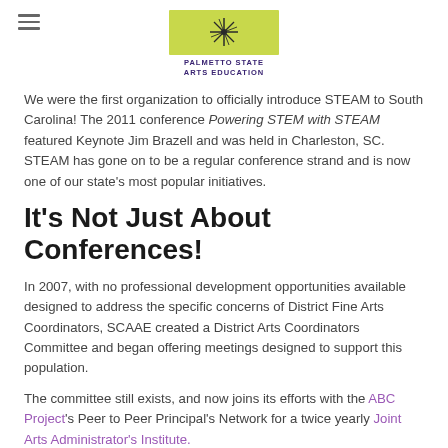Palmetto State Arts Education
We were the first organization to officially introduce STEAM to South Carolina! The 2011 conference Powering STEM with STEAM featured Keynote Jim Brazell and was held in Charleston, SC. STEAM has gone on to be a regular conference strand and is now one of our state's most popular initiatives.
It's Not Just About Conferences!
In 2007, with no professional development opportunities available designed to address the specific concerns of District Fine Arts Coordinators, SCAAE created a District Arts Coordinators Committee and began offering meetings designed to support this population.
The committee still exists, and now joins its efforts with the ABC Project's Peer to Peer Principal's Network for a twice yearly Joint Arts Administrator's Institute.